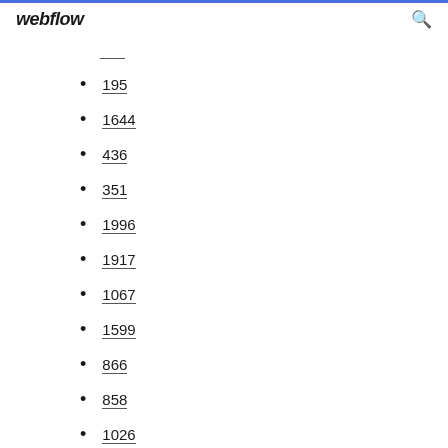webflow
195
1644
436
351
1996
1917
1067
1599
866
858
1026
728